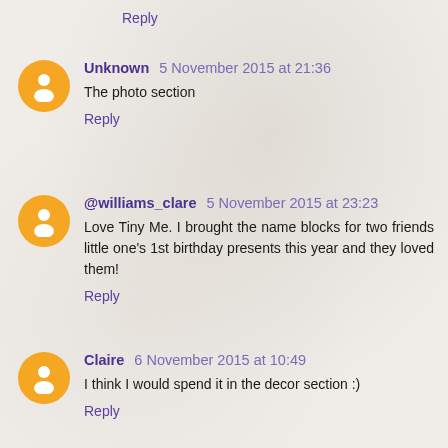Reply
Unknown 5 November 2015 at 21:36
The photo section
Reply
@williams_clare 5 November 2015 at 23:23
Love Tiny Me. I brought the name blocks for two friends little one's 1st birthday presents this year and they loved them!
Reply
Claire 6 November 2015 at 10:49
I think I would spend it in the decor section :)
Reply